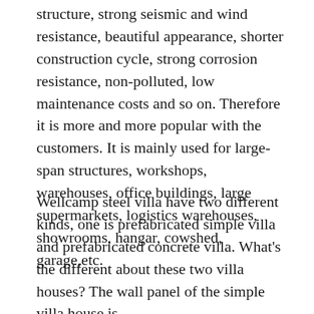structure, strong seismic and wind resistance, beautiful appearance, shorter construction cycle, strong corrosion resistance, non-polluted, low maintenance costs and so on. Therefore it is more and more popular with the customers. It is mainly used for large-span structures, workshops, warehouses, office buildings, large supermarkets, logistics warehouses, showrooms, hangar, cowshed, garage,etc.
Wellcamp steel villa have two different kinds, one is prefabricated simple villa and prefabricated concrete villa. What's the different about these two villa houses? The wall panel of the simple villa house is